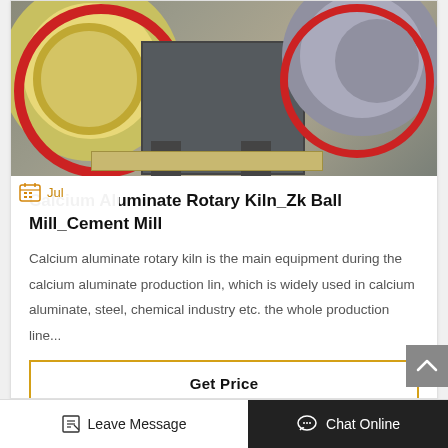[Figure (photo): Industrial ball mill and rotary kiln machinery with large gear wheels, one yellow/cream colored on left and one grey on right, with dark metal machine body in center mounted on support legs, with wooden pallet on floor]
Jul
Calcium Aluminate Rotary Kiln_Zk Ball Mill_Cement Mill
Calcium aluminate rotary kiln is the main equipment during the calcium aluminate production lin, which is widely used in calcium aluminate, steel, chemical industry etc. the whole production line...
Get Price
[Figure (photo): Partial view of another industrial machinery article below]
Leave Message
Chat Online